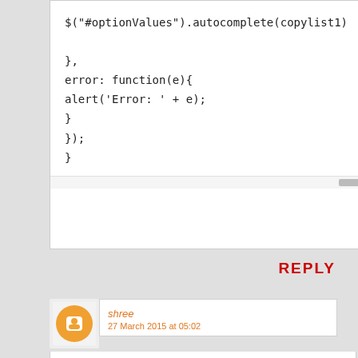[Figure (screenshot): Code block showing jQuery autocomplete and error handler code snippet ending with closing braces]
REPLY
[Figure (illustration): Blogger user avatar - orange circle with white 'B' letter icon]
shree
27 March 2015 at 05:02
pls help me anyone here copylist1 contain autocomplete list auto complete is working